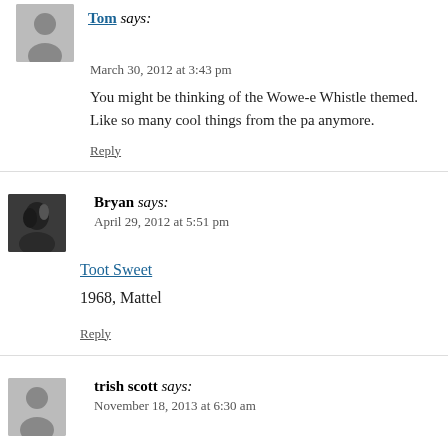Tom says:
March 30, 2012 at 3:43 pm
You might be thinking of the Wowe-e Whistle themed. Like so many cool things from the past anymore.
Reply
Bryan says:
April 29, 2012 at 5:51 pm
Toot Sweet
1968, Mattel
Reply
trish scott says:
November 18, 2013 at 6:30 am